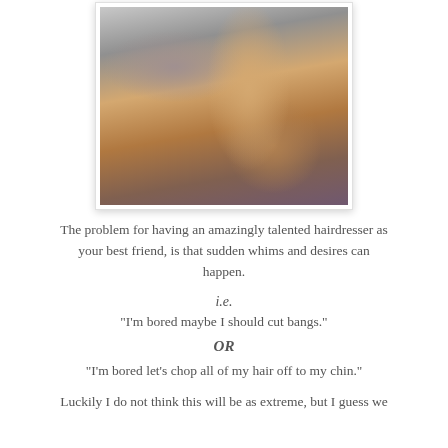[Figure (photo): Side profile photo of a woman with long blonde highlighted ponytail, laughing, wearing a purple floral top. Photo has a white frame/mat border with drop shadow.]
The problem for having an amazingly talented hairdresser as your best friend, is that sudden whims and desires can happen.
i.e.
"I'm bored maybe I should cut bangs."
OR
"I'm bored let's chop all of my hair off to my chin."
Luckily I do not think this will be as extreme, but I guess we